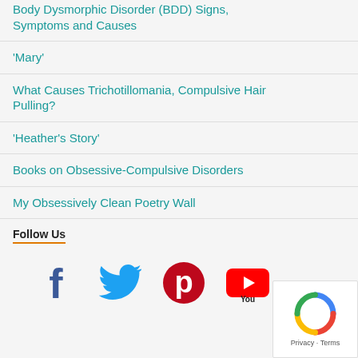Body Dysmorphic Disorder (BDD) Signs, Symptoms and Causes
'Mary'
What Causes Trichotillomania, Compulsive Hair Pulling?
'Heather's Story'
Books on Obsessive-Compulsive Disorders
My Obsessively Clean Poetry Wall
Follow Us
[Figure (infographic): Row of social media icons: Facebook (blue), Twitter (blue bird), Pinterest (red P), YouTube (red/black), and a reCAPTCHA widget.]